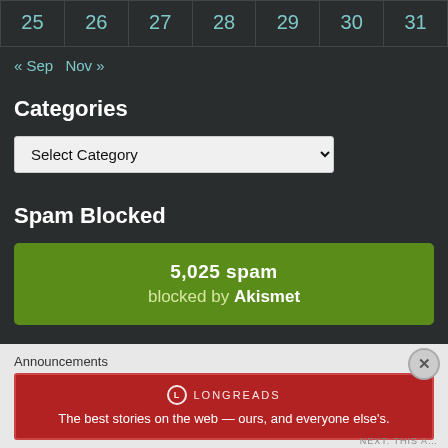| 25 | 26 | 27 | 28 | 29 | 30 | 31 |
| --- | --- | --- | --- | --- | --- | --- |
« Sep  Nov »
Categories
Select Category
Spam Blocked
5,025 spam blocked by Akismet
Archive
Aug 2022
Announcements
[Figure (other): Longreads advertisement banner: The best stories on the web — ours, and everyone else's.]